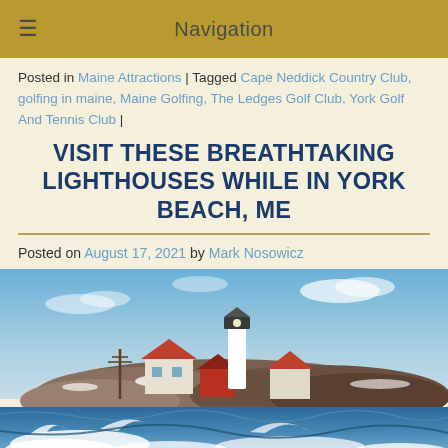Navigation
Posted in Maine Attractions | Tagged Cape Neddick Country Club, golfing in maine, Maine Golfing, The Ledges Golf Club, York Golf And Tennis Club |
VISIT THESE BREATHTAKING LIGHTHOUSES WHILE IN YORK BEACH, ME
Posted on August 17, 2021 by Mark Nosowicz
[Figure (photo): A lighthouse and associated buildings on a rocky coastal island with waves crashing in the foreground and blue sky above. The Nubble Lighthouse / Cape Neddick Light in York Beach, Maine.]